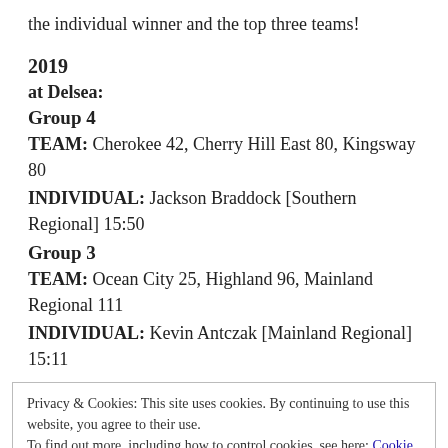the individual winner and the top three teams!
2019
at Delsea:
Group 4
TEAM: Cherokee 42, Cherry Hill East 80, Kingsway 80
INDIVIDUAL: Jackson Braddock [Southern Regional] 15:50
Group 3
TEAM: Ocean City 25, Highland 96, Mainland Regional 111
INDIVIDUAL: Kevin Antczak [Mainland Regional] 15:11
Privacy & Cookies: This site uses cookies. By continuing to use this website, you agree to their use.
To find out more, including how to control cookies, see here: Cookie Policy
Close and accept
96